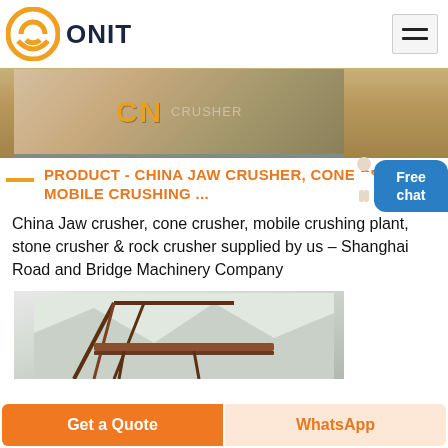[Figure (logo): ONIT logo with orange circular ring icon and dark blue bold text 'ONIT']
[Figure (photo): Overhead view of CN crusher machinery with yellow CN lettering and 'CRUSHER' text visible on industrial equipment]
PRODUCT - CHINA JAW CRUSHER, CONE CRUSHER, MOBILE CRUSHING ...
China Jaw crusher, cone crusher, mobile crushing plant, stone crusher & rock crusher supplied by us – Shanghai Road and Bridge Machinery Company
[Figure (photo): Industrial conveyor belt structure / crane machinery against a misty mountain background]
Get a Quote
WhatsApp